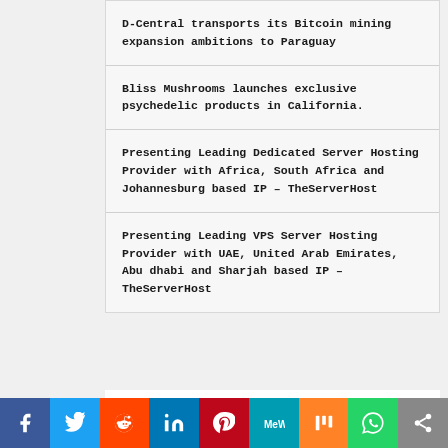D-Central transports its Bitcoin mining expansion ambitions to Paraguay
Bliss Mushrooms launches exclusive psychedelic products in California.
Presenting Leading Dedicated Server Hosting Provider with Africa, South Africa and Johannesburg based IP – TheServerHost
Presenting Leading VPS Server Hosting Provider with UAE, United Arab Emirates, Abu dhabi and Sharjah based IP – TheServerHost
[Figure (infographic): Social sharing bar with icons for Facebook, Twitter, Reddit, LinkedIn, Pinterest, MeWe, Mix, WhatsApp, and Share]